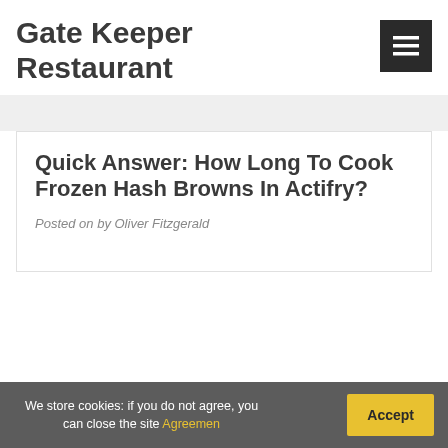Gate Keeper Restaurant
Quick Answer: How Long To Cook Frozen Hash Browns In Actifry?
Posted on by Oliver Fitzgerald
We store cookies: if you do not agree, you can close the site Agreemen